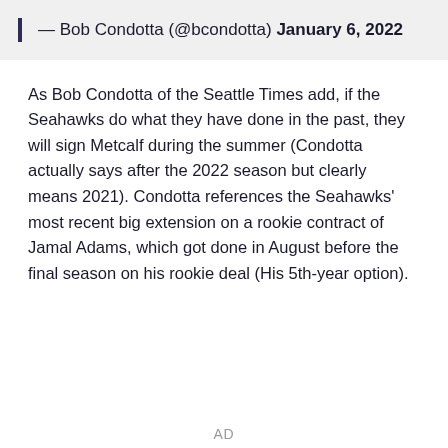— Bob Condotta (@bcondotta) January 6, 2022
As Bob Condotta of the Seattle Times add, if the Seahawks do what they have done in the past, they will sign Metcalf during the summer (Condotta actually says after the 2022 season but clearly means 2021). Condotta references the Seahawks' most recent big extension on a rookie contract of Jamal Adams, which got done in August before the final season on his rookie deal (His 5th-year option).
AD